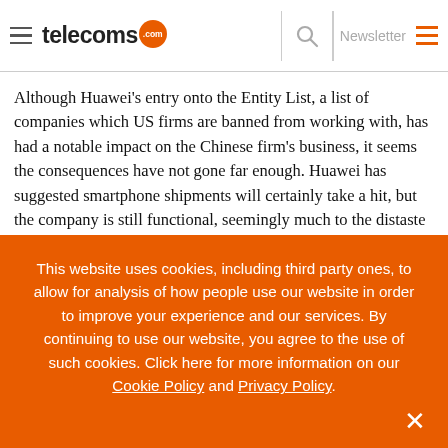telecoms.com | Newsletter
Although Huawei's entry onto the Entity List, a list of companies which US firms are banned from working with, has had a notable impact on the Chinese firm's business, it seems the consequences have not gone far enough. Huawei has suggested smartphone shipments will certainly take a hit, but the company is still functional, seemingly much to the distaste of US officials.
This website uses cookies, including third party ones, to allow for analysis of how people use our website in order to improve your experience and our services. By continuing to use our website, you agree to the use of such cookies. Click here for more information on our Cookie Policy and Privacy Policy.